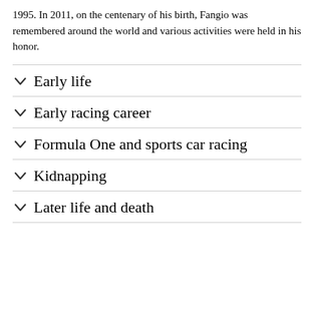1995. In 2011, on the centenary of his birth, Fangio was remembered around the world and various activities were held in his honor.
Early life
Early racing career
Formula One and sports car racing
Kidnapping
Later life and death